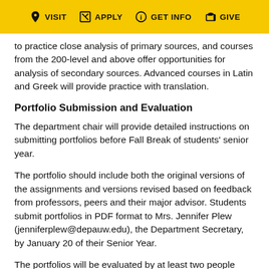VISIT  APPLY  GET INFO  GIVE
to practice close analysis of primary sources, and courses from the 200-level and above offer opportunities for analysis of secondary sources. Advanced courses in Latin and Greek will provide practice with translation.
Portfolio Submission and Evaluation
The department chair will provide detailed instructions on submitting portfolios before Fall Break of students’ senior year.
The portfolio should include both the original versions of the assignments and versions revised based on feedback from professors, peers and their major advisor. Students submit portfolios in PDF format to Mrs. Jennifer Plew (jenniferplew@depauw.edu), the Department Secretary, by January 20 of their Senior Year.
The portfolios will be evaluated by at least two people